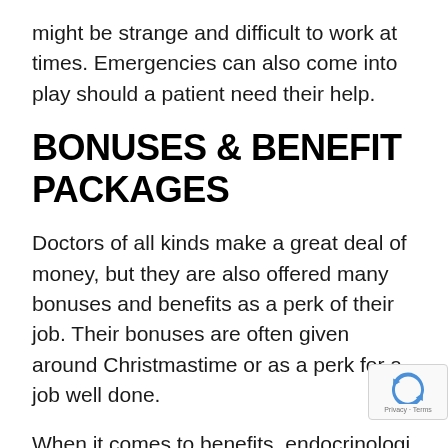might be strange and difficult to work at times. Emergencies can also come into play should a patient need their help.
BONUSES & BENEFIT PACKAGES
Doctors of all kinds make a great deal of money, but they are also offered many bonuses and benefits as a perk of their job. Their bonuses are often given around Christmastime or as a perk for a job well done.
When it comes to benefits, endocrinologi are given several just for being a doctor of kind. Many are given vision and dental